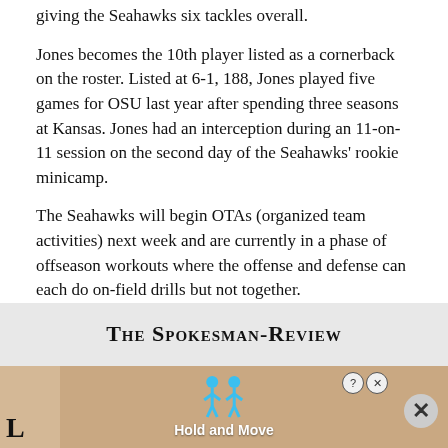giving the Seahawks six tackles overall.
Jones becomes the 10th player listed as a cornerback on the roster. Listed at 6-1, 188, Jones played five games for OSU last year after spending three seasons at Kansas. Jones had an interception during an 11-on-11 session on the second day of the Seahawks’ rookie minicamp.
The Seahawks will begin OTAs (organized team activities) next week and are currently in a phase of offseason workouts where the offense and defense can each do on-field drills but not together.
[Figure (other): Advertisement banner for The Spokesman-Review newspaper with 'Hold and Move' interactive ad overlay showing two blue figures and a close button.]